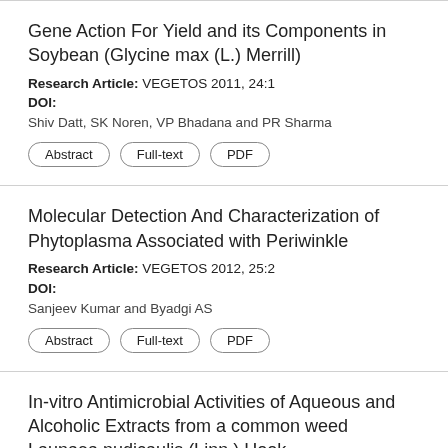Gene Action For Yield and its Components in Soybean (Glycine max (L.) Merrill)
Research Article: VEGETOS 2011, 24:1
DOI:
Shiv Datt, SK Noren, VP Bhadana and PR Sharma
Molecular Detection And Characterization of Phytoplasma Associated with Periwinkle
Research Article: VEGETOS 2012, 25:2
DOI:
Sanjeev Kumar and Byadgi AS
In-vitro Antimicrobial Activities of Aqueous and Alcoholic Extracts from a common weed Launaea nudicaulis (Linn.) Hook
Research Article: VEGETOS 2011, 24:1
DOI: